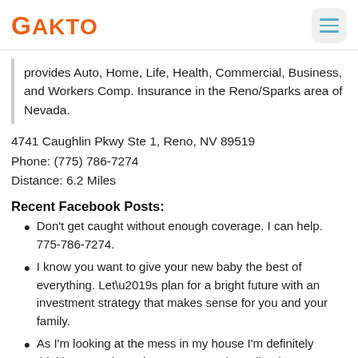GAKTO
provides Auto, Home, Life, Health, Commercial, Business, and Workers Comp. Insurance in the Reno/Sparks area of Nevada.
4741 Caughlin Pkwy Ste 1, Reno, NV 89519
Phone: (775) 786-7274
Distance: 6.2 Miles
Recent Facebook Posts:
Don't get caught without enough coverage. I can help. 775-786-7274.
I know you want to give your new baby the best of everything. Let\u2019s plan for a bright future with an investment strategy that makes sense for you and your family.
As I'm looking at the mess in my house I'm definitely thinking I need my cleaner to come in earlier than scheduled to get this cleaned. If I don't make it home tonight to my family, I know I have made plans for